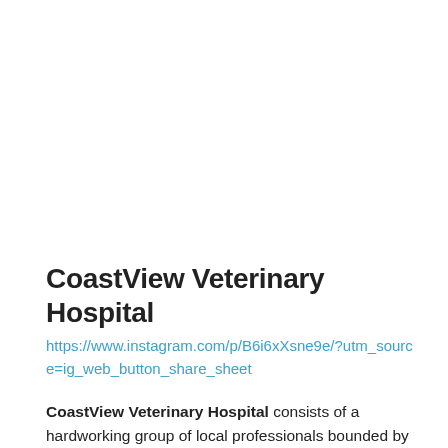CoastView Veterinary Hospital
https://www.instagram.com/p/B6i6xXsne9e/?utm_source=ig_web_button_share_sheet
CoastView Veterinary Hospital consists of a hardworking group of local professionals bounded by the aim to provide exemplary animal care. The privately owned veterinary